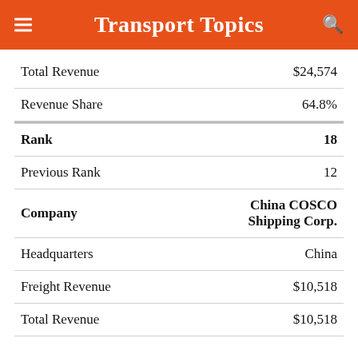Transport Topics
| Field | Value |
| --- | --- |
| Total Revenue | $24,574 |
| Revenue Share | 64.8% |
| Rank | 18 |
| Previous Rank | 12 |
| Company | China COSCO Shipping Corp. |
| Headquarters | China |
| Freight Revenue | $10,518 |
| Total Revenue | $10,518 |